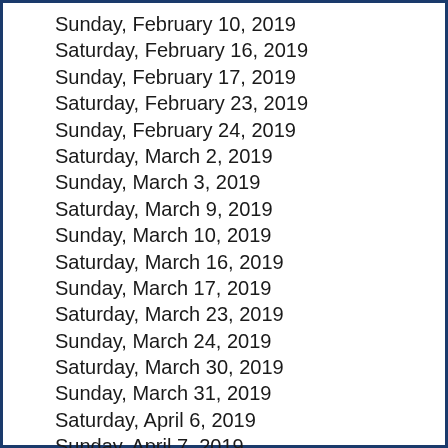Sunday, February 10, 2019
Saturday, February 16, 2019
Sunday, February 17, 2019
Saturday, February 23, 2019
Sunday, February 24, 2019
Saturday, March 2, 2019
Sunday, March 3, 2019
Saturday, March 9, 2019
Sunday, March 10, 2019
Saturday, March 16, 2019
Sunday, March 17, 2019
Saturday, March 23, 2019
Sunday, March 24, 2019
Saturday, March 30, 2019
Sunday, March 31, 2019
Saturday, April 6, 2019
Sunday, April 7, 2019
Saturday, April 13, 2019
Sunday, April 14, 2019